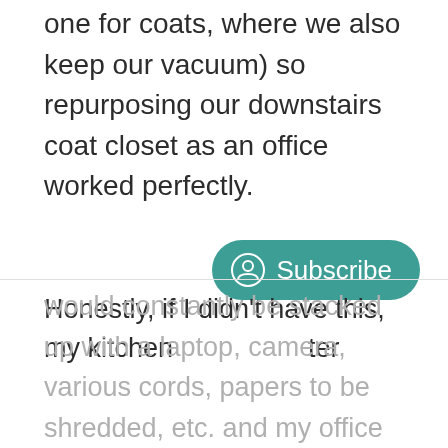one for coats, where we also keep our vacuum) so repurposing our downstairs coat closet as an office worked perfectly.
[Figure (other): Teal/green rounded Subscribe button with a person/user circle icon on the left and the word Subscribe in white text]
Honestly, if I didn't have this, my kitchen counter
would constantly be stacked up with a laptop, camera, various cords, papers to be shredded, etc. and my office